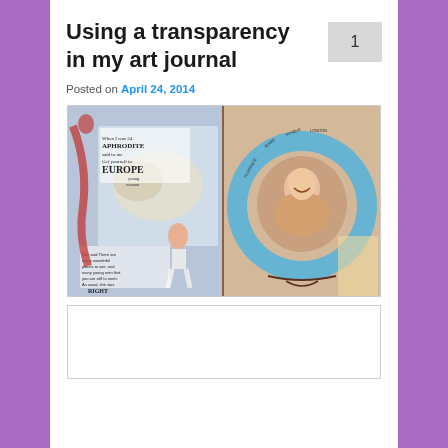Using a transparency in my art journal
Posted on April 24, 2014
[Figure (photo): Open art journal spread. Left page has collage art with text 'When I was 24 APHRODITE said to me Get yourself to EUROPE young woman' and 'She said There are many wonderful places to see, and many young men that you are still to meet. As usual, she was RIGHT'. Right page features a circular blue frame with cities listed (Rome, Athens, London, Florence, etc.) containing a portrait photo of a smiling woman.]
[Figure (photo): Second image box, partially visible at bottom of page.]